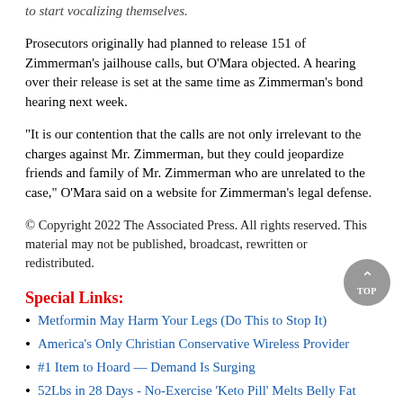to start vocalizing themselves.
Prosecutors originally had planned to release 151 of Zimmerman's jailhouse calls, but O'Mara objected. A hearing over their release is set at the same time as Zimmerman's bond hearing next week.
"It is our contention that the calls are not only irrelevant to the charges against Mr. Zimmerman, but they could jeopardize friends and family of Mr. Zimmerman who are unrelated to the case," O'Mara said on a website for Zimmerman's legal defense.
© Copyright 2022 The Associated Press. All rights reserved. This material may not be published, broadcast, rewritten or redistributed.
Special Links:
Metformin May Harm Your Legs (Do This to Stop It)
America's Only Christian Conservative Wireless Provider
#1 Item to Hoard — Demand Is Surging
52Lbs in 28 Days - No-Exercise 'Keto Pill' Melts Belly Fat
[partially cut off]